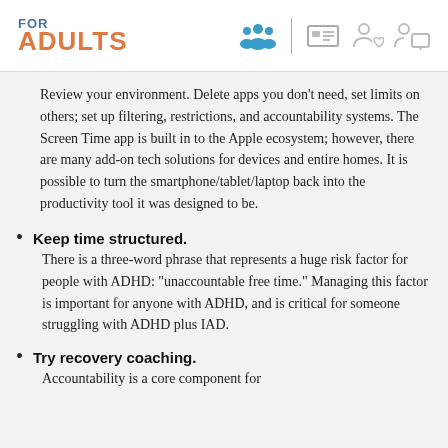FOR ADULTS
Review your environment. Delete apps you don't need, set limits on others; set up filtering, restrictions, and accountability systems. The Screen Time app is built in to the Apple ecosystem; however, there are many add-on tech solutions for devices and entire homes. It is possible to turn the smartphone/tablet/laptop back into the productivity tool it was designed to be.
Keep time structured. There is a three-word phrase that represents a huge risk factor for people with ADHD: "unaccountable free time." Managing this factor is important for anyone with ADHD, and is critical for someone struggling with ADHD plus IAD.
Try recovery coaching. Accountability is a core component for